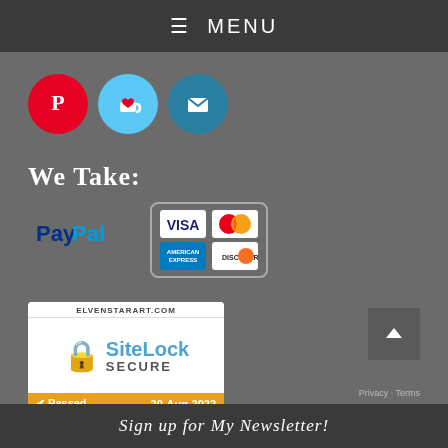≡ MENU
[Figure (logo): Three social media icons: Pinterest (red circle with P), Ko-fi (light blue circle with coffee cup and heart), Email (teal circle with envelope)]
We Take:
[Figure (logo): Payment methods: PayPal logo on left, and a bordered box showing Visa, MasterCard, American Express, and Discover card logos]
[Figure (logo): SiteLock SECURE badge. ELVENSTARART.COM at top, lock icon with SiteLock SECURE text, Passed 20-Aug-2022 at bottom on orange bar]
Sign up for My Newsletter!